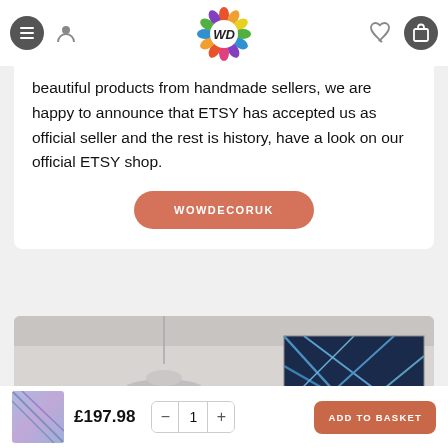WD logo header with navigation icons
beautiful products from handmade sellers, we are happy to announce that ETSY has accepted us as official seller and the rest is history, have a look on our official ETSY shop.
WOWDECORUK
[Figure (photo): Interior room scene with a pendant ceiling lamp and blue geometric canvas wall art]
£197.98  -  1  +  ADD TO BASKET